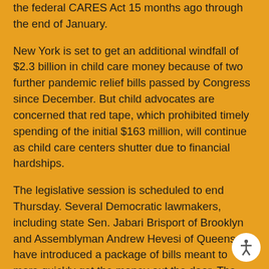the federal CARES Act 15 months ago through the end of January.
New York is set to get an additional windfall of $2.3 billion in child care money because of two further pandemic relief bills passed by Congress since December. But child advocates are concerned that red tape, which prohibited timely spending of the initial $163 million, will continue as child care centers shutter due to financial hardships.
The legislative session is scheduled to end Thursday. Several Democratic lawmakers, including state Sen. Jabari Brisport of Brooklyn and Assemblyman Andrew Hevesi of Queens, have introduced a package of bills meant to more quickly get the money out the door. The legislation also would provide oversight of the Cuomo administration's spending of any remaining funds.
New York distribution of the $163 million was intended to be spent on daycare scholarships for children of essential workers and other immediate forms of support.